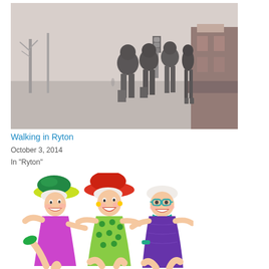[Figure (photo): Black and white / desaturated photo of people walking on a snowy street in Ryton, carrying luggage, viewed from behind. Foggy winter scene with bare trees and shops.]
Walking in Ryton
October 3, 2014
In "Ryton"
[Figure (illustration): Colorful cartoon illustration of three elderly women in bright hats and swimsuits dancing and laughing together. One wears a green hat and purple dress, one wears a red hat and green polka-dot swimsuit, and one wears teal glasses and purple swimsuit.]